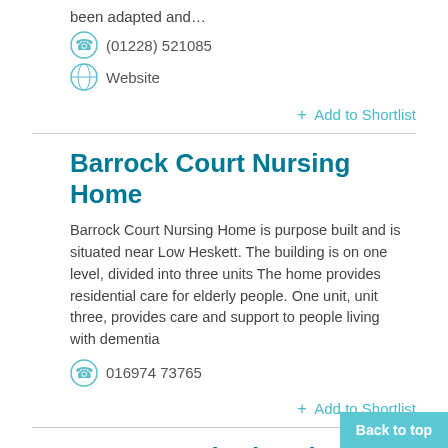been adapted and…
(01228) 521085
Website
+ Add to Shortlist
Barrock Court Nursing Home
Barrock Court Nursing Home is purpose built and is situated near Low Heskett. The building is on one level, divided into three units The home provides residential care for elderly people. One unit, unit three, provides care and support to people living with dementia
016974 73765
+ Add to Shortlist
Barrow & District Disability Association
Early DaysBarrow & District Disability Association (BDDA) was set up in 1981 by a group of disabled people and
Back to top